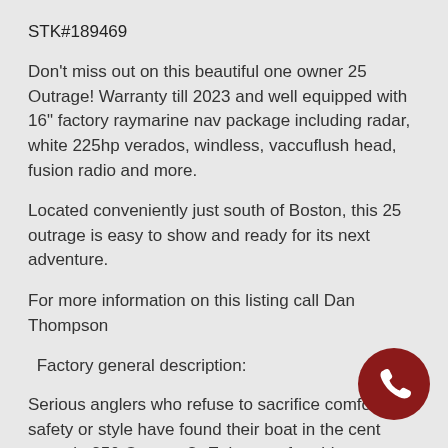STK#189469
Don't miss out on this beautiful one owner 25 Outrage! Warranty till 2023 and well equipped with 16" factory raymarine nav package including radar, white 225hp verados, windless, vaccuflush head, fusion radio and more.
Located conveniently just south of Boston, this 25 outrage is easy to show and ready for its next adventure.
For more information on this listing call Dan Thompson
Factory general description:
Serious anglers who refuse to sacrifice comfort, safety or style have found their boat in the center console 250 Outrage®. Enjoy comfortable, functional
[Figure (illustration): Dark red circular phone call button icon in the bottom right corner]